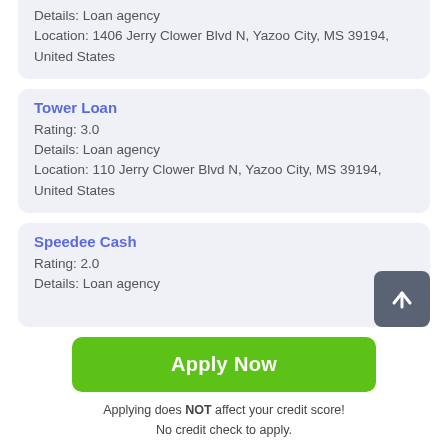Details: Loan agency
Location: 1406 Jerry Clower Blvd N, Yazoo City, MS 39194, United States
Tower Loan
Rating: 3.0
Details: Loan agency
Location: 110 Jerry Clower Blvd N, Yazoo City, MS 39194, United States
Speedee Cash
Rating: 2.0
Details: Loan agency
Apply Now
Applying does NOT affect your credit score!
No credit check to apply.